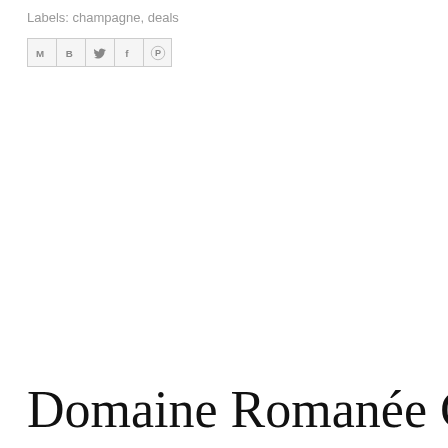Labels: champagne, deals
[Figure (other): Social share buttons row: email (M), Blogger (B), Twitter (bird icon), Facebook (f), Pinterest (P)]
Domaine Romanée Conti meets S